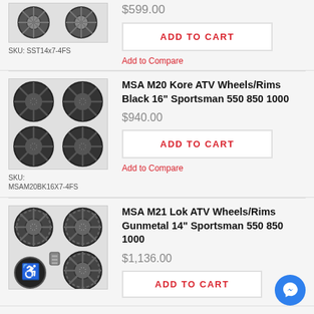[Figure (photo): Two ATV wheels/rims shown side by side (partial, top of page)]
SKU: SST14x7-4FS
$599.00
ADD TO CART
Add to Compare
[Figure (photo): Four MSA M20 Kore ATV black wheels/rims shown in 2x2 grid]
MSA M20 Kore ATV Wheels/Rims Black 16" Sportsman 550 850 1000
$940.00
ADD TO CART
Add to Compare
SKU: MSAM20BK16X7-4FS
[Figure (photo): Four MSA M21 Lok ATV gunmetal wheels/rims shown in 2x2 grid]
MSA M21 Lok ATV Wheels/Rims Gunmetal 14" Sportsman 550 850 1000
$1,136.00
ADD TO CART